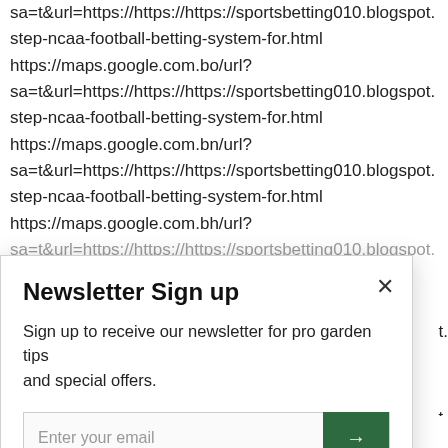sa=t&url=https://https://https://sportsbetting010.blogspot. step-ncaa-football-betting-system-for.html https://maps.google.com.bo/url? sa=t&url=https://https://https://sportsbetting010.blogspot. step-ncaa-football-betting-system-for.html https://maps.google.com.bn/url? sa=t&url=https://https://https://sportsbetting010.blogspot. step-ncaa-football-betting-system-for.html https://maps.google.com.bh/url? sa=t&url=https://https://https://sportsbetting010.blogspot.
Newsletter Sign up
Sign up to receive our newsletter for pro garden tips and special offers.
Enter your email
https://maps.google.com.ar/url?